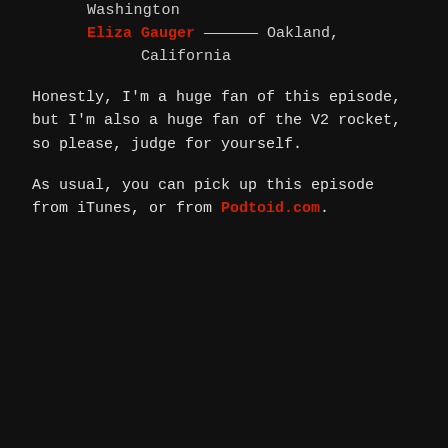Washington
Eliza Gauger —————— Oakland, California
Honestly, I'm a huge fan of this episode, but I'm also a huge fan of the V2 rocket, so please, judge for yourself.
As usual, you can pick up this episode from iTunes, or from Podtoid.com.